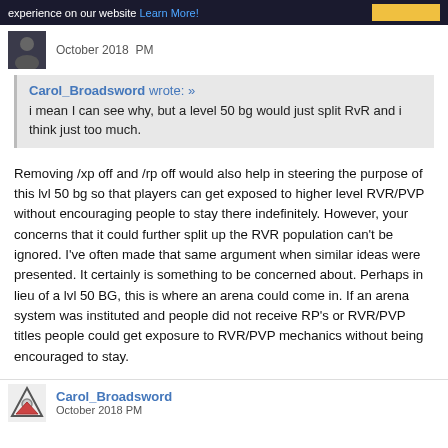experience on our website Learn More!
October 2018  PM
Carol_Broadsword wrote: »
i mean I can see why, but a level 50 bg would just split RvR and i think just too much.
Removing /xp off and /rp off would also help in steering the purpose of this lvl 50 bg so that players can get exposed to higher level RVR/PVP without encouraging people to stay there indefinitely. However, your concerns that it could further split up the RVR population can't be ignored. I've often made that same argument when similar ideas were presented. It certainly is something to be concerned about. Perhaps in lieu of a lvl 50 BG, this is where an arena could come in. If an arena system was instituted and people did not receive RP's or RVR/PVP titles people could get exposure to RVR/PVP mechanics without being encouraged to stay.
Carol_Broadsword